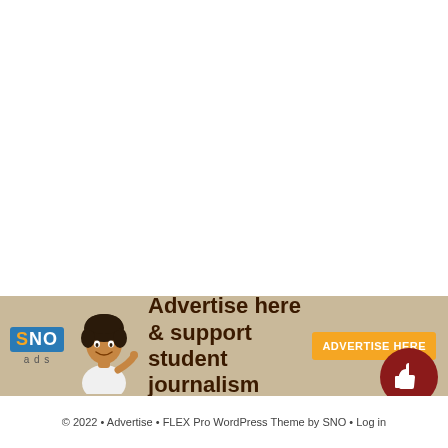[Figure (infographic): SNO Ads banner advertisement: SNO logo on left, smiling person with curly hair, text 'Advertise here & support student journalism', orange 'ADVERTISE HERE' button on right, tan/beige background.]
© 2022 • Advertise • FLEX Pro WordPress Theme by SNO • Log in